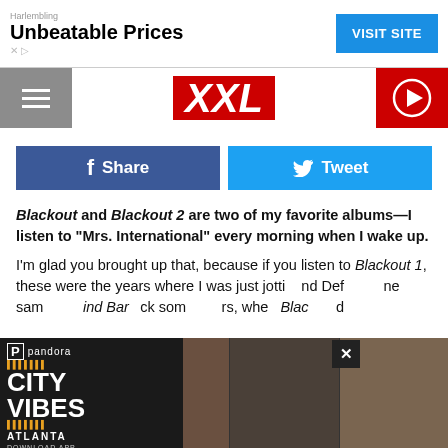[Figure (screenshot): Ad banner: Harlembling Unbeatable Prices with VISIT SITE button]
[Figure (logo): XXL magazine navigation bar with hamburger menu, XXL red logo, and red play button]
[Figure (screenshot): Facebook Share and Twitter Tweet buttons]
Blackout and Blackout 2 are two of my favorite albums—I listen to "Mrs. International" every morning when I wake up. I'm glad you brought up that, because if you listen to Blackout 1, these were the years where I was just jotting and Def... same... ind Bars... ck som... rs, whe... Blac... d
[Figure (photo): Pandora City Vibes Atlanta ad overlay on left with three hip-hop artists photos on right, and X close button]